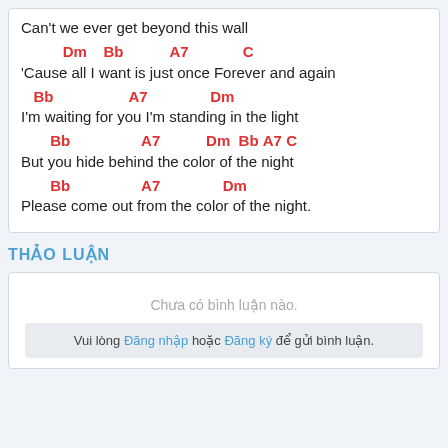Can't we ever get beyond this wall
Dm   Bb         A7            C
'Cause all I want is just once Forever and again
Bb              A7             Dm
I'm waiting for you I'm standing in the light
Bb              A7          Dm  Bb A7 C
But you hide behind the color of the night
Bb              A7          Dm
Please come out from the color of the night.
THẢO LUẬN
Chưa có bình luận nào.
Vui lòng Đăng nhập hoặc Đăng ký để gửi bình luận.